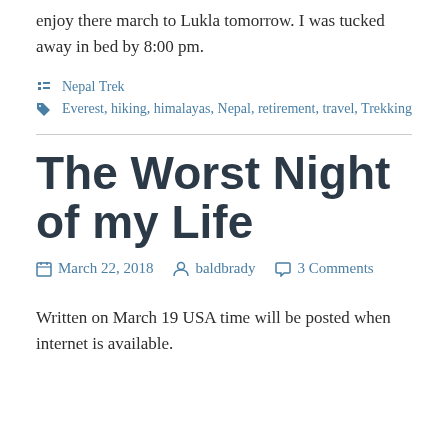enjoy there march to Lukla tomorrow. I was tucked away in bed by 8:00 pm.
Nepal Trek
Everest, hiking, himalayas, Nepal, retirement, travel, Trekking
The Worst Night of my Life
March 22, 2018   baldbrady   3 Comments
Written on March 19 USA time will be posted when internet is available.